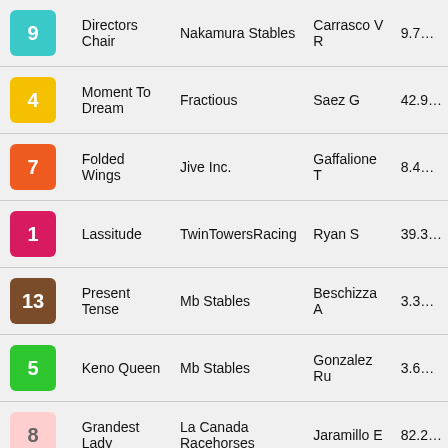| # | Horse | Trainer | Jockey | Odds |
| --- | --- | --- | --- | --- |
| 9 | Directors Chair | Nakamura Stables | Carrasco V R | 9.7... |
| 4 | Moment To Dream | Fractious | Saez G | 42.9... |
| 7 | Folded Wings | Jive Inc. | Gaffalione T | 8.4... |
| 1 | Lassitude | TwinTowersRacing | Ryan S | 39.3... |
| 13 | Present Tense | Mb Stables | Beschizza A | 3.3... |
| 5 | Keno Queen | Mb Stables | Gonzalez Ru | 3.6... |
| 8 | Grandest Lady | La Canada Racehorses | Jaramillo E | 82.2... |